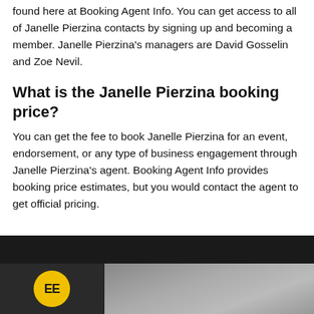found here at Booking Agent Info. You can get access to all of Janelle Pierzina contacts by signing up and becoming a member. Janelle Pierzina's managers are David Gosselin and Zoe Nevil.
What is the Janelle Pierzina booking price?
You can get the fee to book Janelle Pierzina for an event, endorsement, or any type of business engagement through Janelle Pierzina's agent. Booking Agent Info provides booking price estimates, but you would contact the agent to get official pricing.
[Figure (photo): Dark footer bar with a yellow circular logo on the left and a photo of a person (blonde woman) on the right, partially visible at the bottom of the page.]